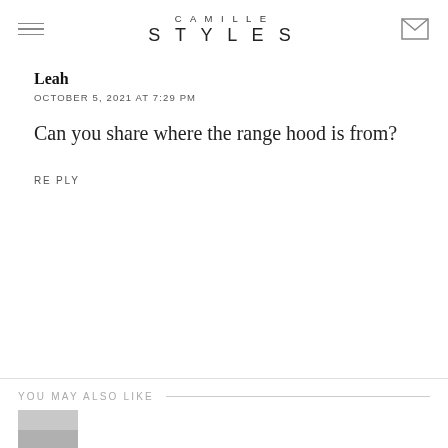CAMILLE STYLES
Leah
OCTOBER 5, 2021 AT 7:29 PM
Can you share where the range hood is from?
REPLY
YOU MAY ALSO LIKE